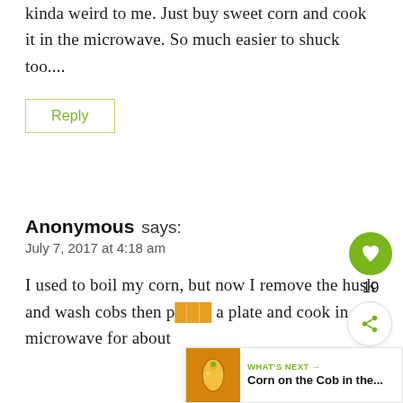I've never added sugar to corn. Sounds kinda weird to me. Just buy sweet corn and cook it in the microwave. So much easier to shuck too....
Reply
Anonymous says:
July 7, 2017 at 4:18 am
I used to boil my corn, but now I remove the husk and wash cobs then p... a plate and cook in microwave for about
[Figure (infographic): What's Next banner with corn on the cob image thumbnail, green arrow label reading WHAT'S NEXT, and title text 'Corn on the Cob in the...']